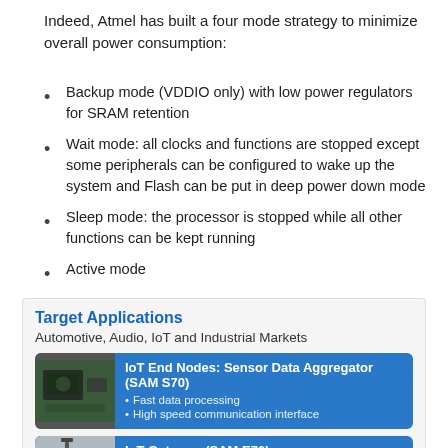Indeed, Atmel has built a four mode strategy to minimize overall power consumption:
Backup mode (VDDIO only) with low power regulators for SRAM retention
Wait mode: all clocks and functions are stopped except some peripherals can be configured to wake up the system and Flash can be put in deep power down mode
Sleep mode: the processor is stopped while all other functions can be kept running
Active mode
Target Applications
Automotive, Audio, IoT and Industrial Markets
[Figure (infographic): IoT End Nodes: Sensor Data Aggregator (SAM S70) card with photo of outdoor sensor and bullet points: Fast data processing, High speed communication interface]
[Figure (infographic): IoT Gateway (SAM E70) card with photo of gateway device and bullet points: Integrated with Ethernet and Dual CAN, High speed communication interface]